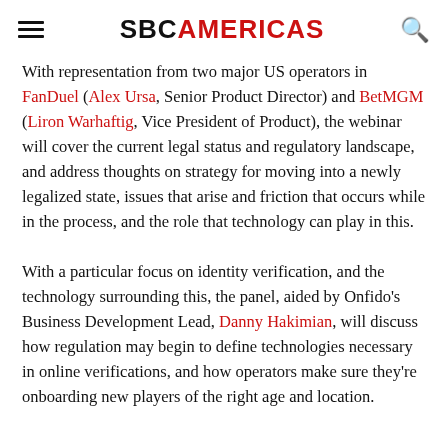SBCAMERICAS
With representation from two major US operators in FanDuel (Alex Ursa, Senior Product Director) and BetMGM (Liron Warhaftig, Vice President of Product), the webinar will cover the current legal status and regulatory landscape, and address thoughts on strategy for moving into a newly legalized state, issues that arise and friction that occurs while in the process, and the role that technology can play in this.
With a particular focus on identity verification, and the technology surrounding this, the panel, aided by Onfido's Business Development Lead, Danny Hakimian, will discuss how regulation may begin to define technologies necessary in online verifications, and how operators make sure they're onboarding new players of the right age and location.